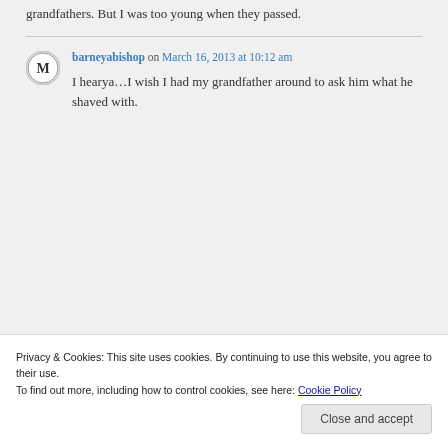grandfathers. But I was too young when they passed.
barneyabishop on March 16, 2013 at 10:12 am
I hearya…I wish I had my grandfather around to ask him what he shaved with.
Privacy & Cookies: This site uses cookies. By continuing to use this website, you agree to their use.
To find out more, including how to control cookies, see here: Cookie Policy
Close and accept